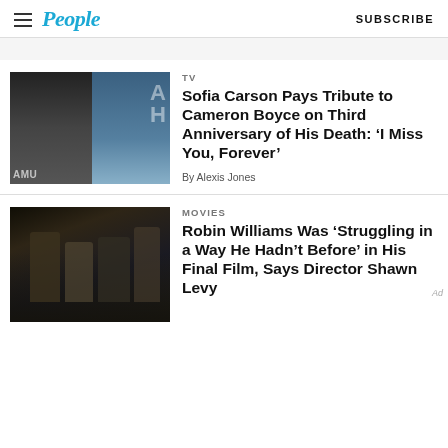People | SUBSCRIBE
[Figure (photo): Two-photo composite: woman with dark hair on left, young man in turtleneck on right, with 'AMU' text visible]
TV
Sofia Carson Pays Tribute to Cameron Boyce on Third Anniversary of His Death: ‘I Miss You, Forever’
By Alexis Jones
[Figure (photo): Movie still showing several characters including people in period costumes]
MOVIES
Robin Williams Was ‘Struggling in a Way He Hadn’t Before’ in His Final Film, Says Director Shawn Levy